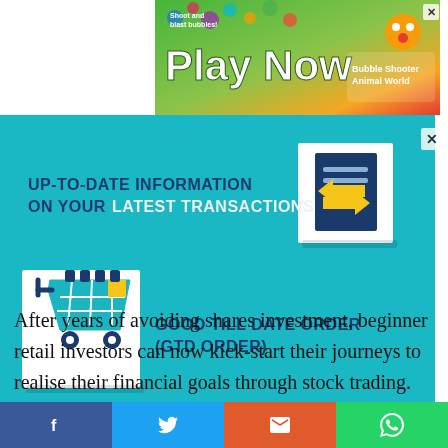[Figure (infographic): Game advertisement banner with colorful bubble-shooter game graphics, 'Play Now' text, and 'Bubble Shooter Animal World' branding. Close X button in top right.]
[Figure (infographic): Kenanga bank teal-colored promotional infographic showing: 'UP-TO-DATE INFORMATION ON YOUR LATEST TRANSACTIONS' with a document/arrows icon; and 'GOOD TILL DATE ORDER (GTD ORDER)' with a shopping cart/calendar icon. Kenanga logo and iMoney logo at bottom with dark blue diagonal accent.]
After years of avoiding shares investment, beginner retail investors can now kick-start their journeys to realise their financial goals through stock trading.
[Figure (infographic): Social media share bar at the bottom with four buttons: Facebook (blue), Twitter (light blue), Email (orange-red), WhatsApp (green).]